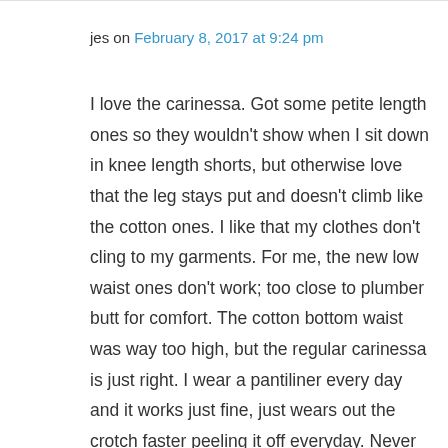jes on February 8, 2017 at 9:24 pm
I love the carinessa. Got some petite length ones so they wouldn't show when I sit down in knee length shorts, but otherwise love that the leg stays put and doesn't climb like the cotton ones. I like that my clothes don't cling to my garments. For me, the new low waist ones don't work; too close to plumber butt for comfort. The cotton bottom waist was way too high, but the regular carinessa is just right. I wear a pantiliner every day and it works just fine, just wears out the crotch faster peeling it off everyday. Never have had a rash problem, perhaps b/c we use perfume and dye free laundry detergent and no fabric softener? I have no problem with the top